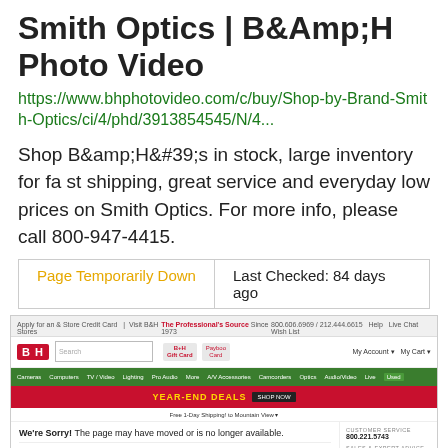Smith Optics | B&Amp;H Photo Video
https://www.bhphotovideo.com/c/buy/Shop-by-Brand-Smith-Optics/ci/4/phd/3913854545/N/4...
Shop B&amp;H&#39;s in stock, large inventory for fast shipping, great service and everyday low prices on Smith Optics. For more info, please call 800-947-4415.
Page Temporarily Down | Last Checked: 84 days ago
[Figure (screenshot): Screenshot of B&H Photo Video website showing a 'We're Sorry! The page may have moved or is no longer available.' error page with navigation bar, search box, Year-End Deals promo banner, and customer service contact information.]